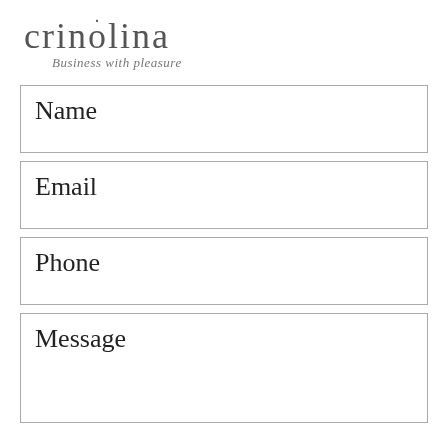crinolina
Business with pleasure
Name
Email
Phone
Message